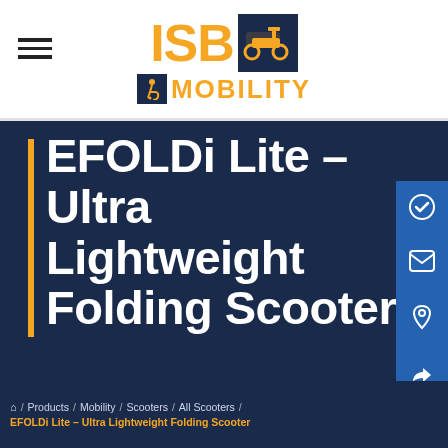[Figure (logo): ISB Mobility logo with orange ISB text, dark navy icon box with scooter icon, wheelchair accessibility icon, and MOBILITY text in orange]
EFOLDi Lite – Ultra Lightweight Folding Scooter
🏠 / Products / Mobility / Scooters / All Scooters /
EFOLDi Lite – Ultra Lightweight Folding Scooter